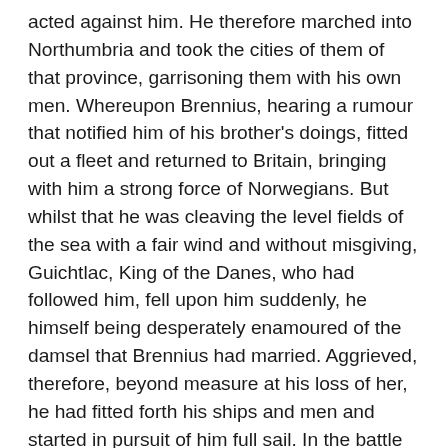acted against him. He therefore marched into Northumbria and took the cities of them of that province, garrisoning them with his own men. Whereupon Brennius, hearing a rumour that notified him of his brother's doings, fitted out a fleet and returned to Britain, bringing with him a strong force of Norwegians. But whilst that he was cleaving the level fields of the sea with a fair wind and without misgiving, Guichtlac, King of the Danes, who had followed him, fell upon him suddenly, he himself being desperately enamoured of the damsel that Brennius had married. Aggrieved, therefore, beyond measure at his loss of her, he had fitted forth his ships and men and started in pursuit of him full sail. In the battle at sea that followed it so happened that he came alongside the ship wherein was the foresaid damsel, and making the vessel fast to his own with grappling hooks, fetched the damsel out of the one aboard the other and set her down in the midst of his own shipmates. But whilst the barks were thus grappled together and were swaying about hither and thither in the deep sea, foul winds rise of a sudden, and in the squall the ships are